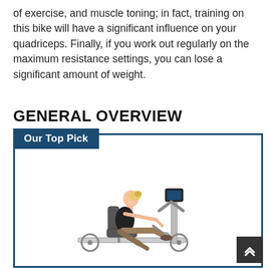of exercise, and muscle toning; in fact, training on this bike will have a significant influence on your quadriceps. Finally, if you work out regularly on the maximum resistance settings, you can lose a significant amount of weight.
GENERAL OVERVIEW
[Figure (photo): Woman riding a recumbent exercise bike (stationary bike), shown in profile view. The bike is white/silver with a black console/display on the right side.]
Our Top Pick